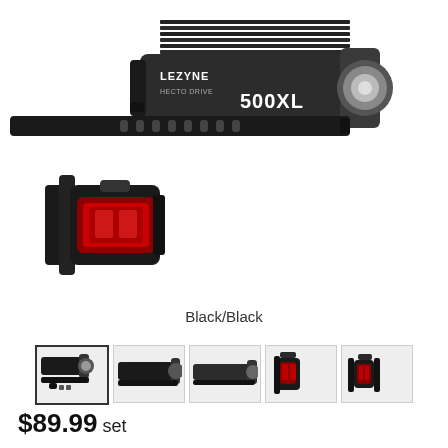[Figure (photo): Lezyne Hecto Drive 500XL front bicycle light (black) with mounting strap, and a small Lezyne rear red bicycle light, both shown on white background.]
Black/Black
[Figure (photo): Five thumbnail images showing different views of the Lezyne bicycle light set from various angles.]
$89.99 set